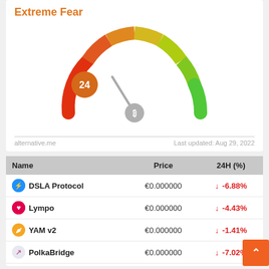Extreme Fear
[Figure (other): Crypto Fear & Greed Index gauge showing value 24 (Extreme Fear). Semicircular gauge colored from red/orange on the left to green on the right. Needle points to approximately 24 (left side, near red zone). Center pivot shows Bitcoin symbol. Orange circle badge shows number 24.]
alternative.me    Last updated: Aug 29, 2022
| Name | Price | 24H (%) |
| --- | --- | --- |
| DSLA Protocol | €0.000000 | ↓ -6.88% |
| Lympo | €0.000000 | ↓ -4.43% |
| YAM v2 | €0.000000 | ↓ -1.41% |
| PolkaBridge | €0.000000 | ↓ -7.02% |